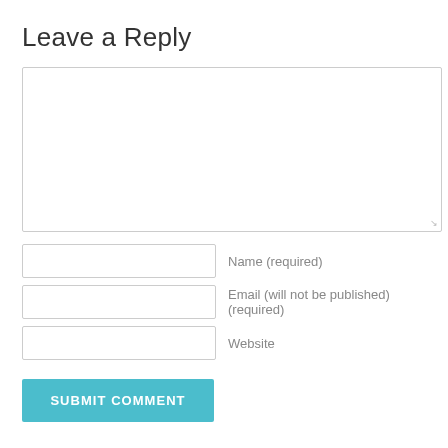Leave a Reply
[Figure (other): Large empty comment textarea input field with resize handle at bottom-right]
Name (required)
Email (will not be published) (required)
Website
SUBMIT COMMENT